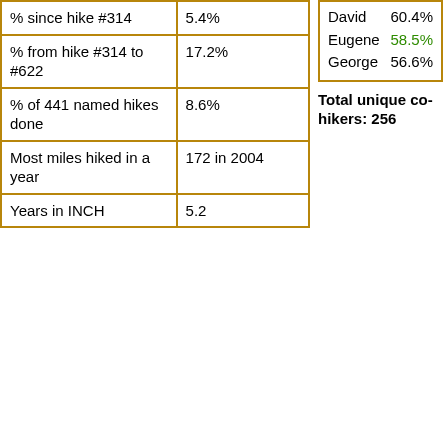|  |  |
| --- | --- |
| % since hike #314 | 5.4% |
| % from hike #314 to #622 | 17.2% |
| % of 441 named hikes done | 8.6% |
| Most miles hiked in a year | 172 in 2004 |
| Years in INCH | 5.2 |
| Name | Value |
| --- | --- |
| David | 60.4% |
| Eugene | 58.5% |
| George | 56.6% |
Total unique co-hikers: 256